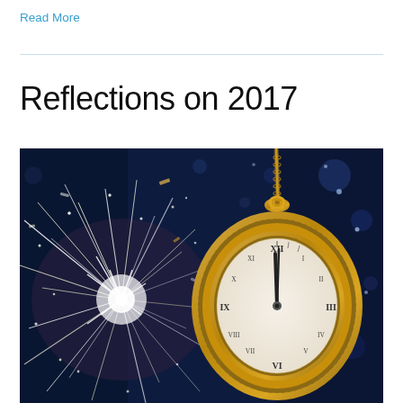Read More
Reflections on 2017
[Figure (photo): A sparkler with bright white firework-like sparks on the left, and a gold antique pocket watch showing nearly midnight (just before 12 o'clock) hanging from a chain on the right, against a dark navy blue background — a New Year's Eve themed photo.]